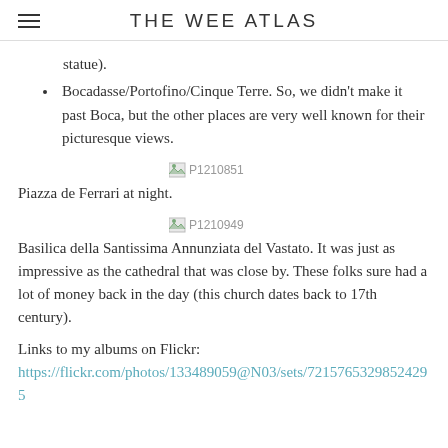THE WEE ATLAS
statue).
Bocadasse/Portofino/Cinque Terre. So, we didn't make it past Boca, but the other places are very well known for their picturesque views.
[Figure (photo): Broken image placeholder labeled P1210851]
Piazza de Ferrari at night.
[Figure (photo): Broken image placeholder labeled P1210949]
Basilica della Santissima Annunziata del Vastato. It was just as impressive as the cathedral that was close by. These folks sure had a lot of money back in the day (this church dates back to 17th century).
Links to my albums on Flickr:
https://flickr.com/photos/133489059@N03/sets/72157653298524295